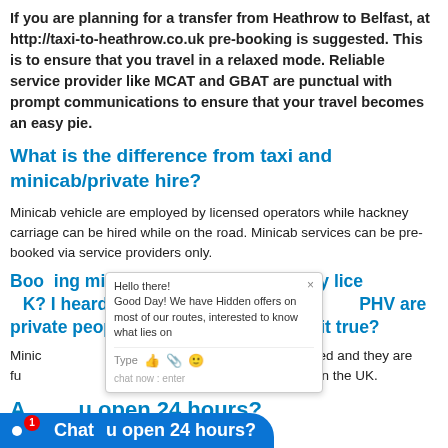If you are planning for a transfer from Heathrow to Belfast, at http://taxi-to-heathrow.co.uk pre-booking is suggested. This is to ensure that you travel in a relaxed mode. Reliable service provider like MCAT and GBAT are punctual with prompt communications to ensure that your travel becomes an easy pie.
What is the difference from taxi and minicab/private hire?
Minicab vehicle are employed by licensed operators while hackney carriage can be hired while on the road. Minicab services can be pre-booked via service providers only.
Booking minicab/private hire is legally licensed in UK? I heard taxis are legally licensed and PHV are private people driving with car, is it true?
Minicab and PHV are equally recognized and licensed and they are fully authorized to operate as cab service providers in the UK.
Are you open 24 hours?